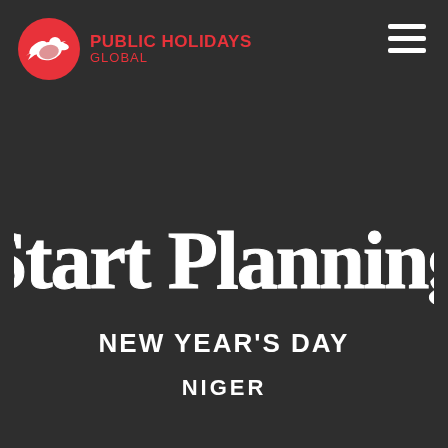[Figure (logo): Public Holidays Global logo: red circle with white bird silhouette, red text PUBLIC HOLIDAYS GLOBAL]
[Figure (illustration): Hamburger menu icon (three white horizontal bars) in top right corner]
Start Planning
NEW YEAR'S DAY
NIGER